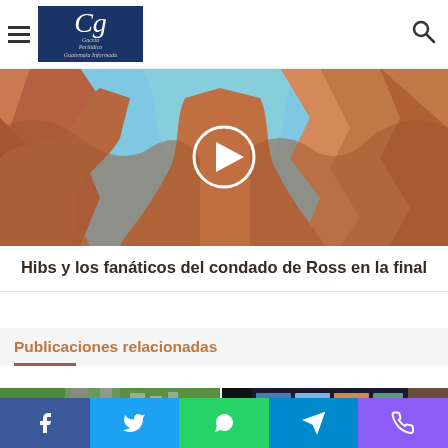Gaceta — navigation header with logo and search
[Figure (photo): Antelope Canyon-like sandstone rock formations in orange and red tones with a circular play button overlay in the center]
Hibs y los fanáticos del condado de Ross en la final
Publicaciones relacionadas
[Figure (photo): Aerial view of a highway interchange with green trees and urban areas]
[Figure (screenshot): Screenshot showing a dark interface with photo grid thumbnails]